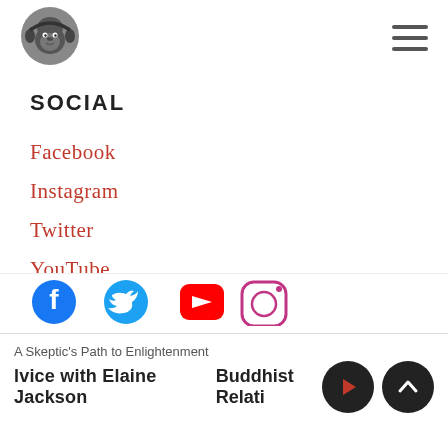[Figure (logo): Gorilla with headphones logo icon (podcast logo)]
SOCIAL
Facebook
Instagram
Twitter
YouTube
LinkedIN
Private Discussion Group
[Figure (infographic): Row of social media icons: Facebook (blue), Twitter (blue), YouTube (red), Instagram (gradient/pink)]
A Skeptic's Path to Enlightenment
lvice with Elaine Jackson   Buddhist Relati